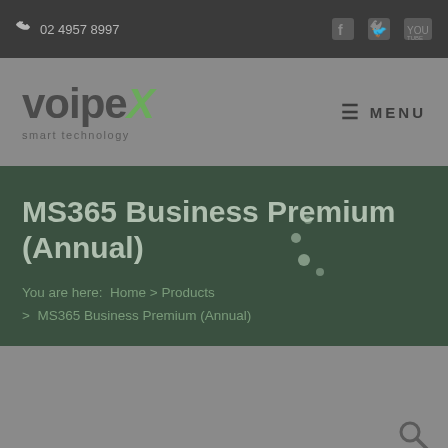02 4957 8997
[Figure (logo): VoipeX smart technology logo - text logo with green X letter and tagline 'smart technology']
MS365 Business Premium (Annual)
You are here: Home > Products > MS365 Business Premium (Annual)